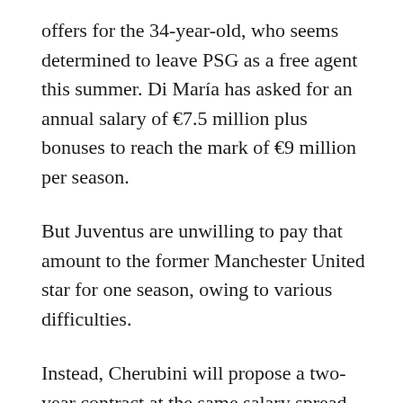offers for the 34-year-old, who seems determined to leave PSG as a free agent this summer. Di María has asked for an annual salary of €7.5 million plus bonuses to reach the mark of €9 million per season.
But Juventus are unwilling to pay that amount to the former Manchester United star for one season, owing to various difficulties.
Instead, Cherubini will propose a two-year contract at the same salary spread over two seasons, meaning that the Bianconeri would be able to take the full advantage of the Growth Decree, which is a tax discount that allows a club to save up to 50% on the taxes of the professionals, who have worked abroad